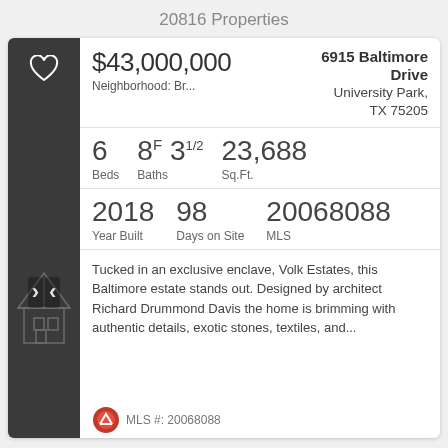20816 Properties
$43,000,000
Neighborhood: Br...
6915 Baltimore Drive
University Park, TX 75205
6 Beds   8F 31/2 Baths   23,688 Sq.Ft.
2018 Year Built   98 Days on Site   20068088 MLS
Tucked in an exclusive enclave, Volk Estates, this Baltimore estate stands out. Designed by architect Richard Drummond Davis the home is brimming with authentic details, exotic stones, textiles, and...
MLS #: 20068088